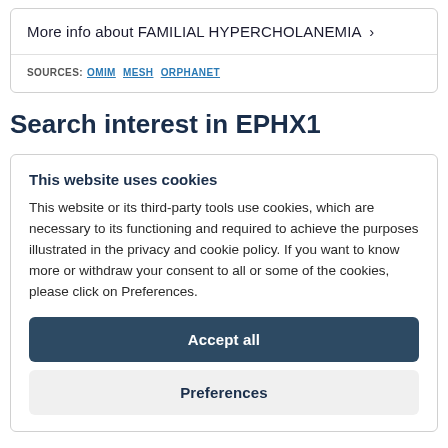More info about FAMILIAL HYPERCHOLANEMIA ›
SOURCES: OMIM MESH ORPHANET
Search interest in EPHX1
This website uses cookies
This website or its third-party tools use cookies, which are necessary to its functioning and required to achieve the purposes illustrated in the privacy and cookie policy. If you want to know more or withdraw your consent to all or some of the cookies, please click on Preferences.
Accept all
Preferences